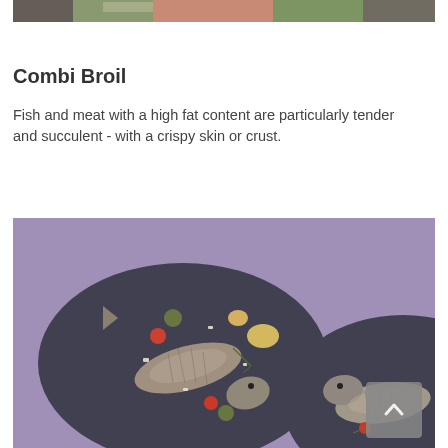[Figure (photo): Top edge of a food photo showing meat/fish with green leaves on a light background, cropped to a narrow strip at the top of the page]
Combi Broil
Fish and meat with a high fat content are particularly tender and succulent - with a crispy skin or crust.
[Figure (photo): Two whole cooked fish (trout or sea bream) served on dark oval plates with roasted potatoes, sliced zucchini, tomatoes, and white cheese crumbles on a purple background. A scroll-to-top button is visible in the bottom right corner.]